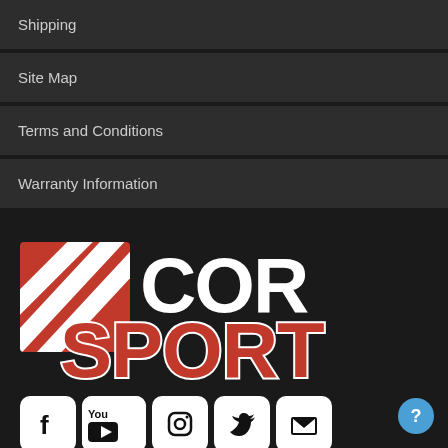Shipping
Site Map
Terms and Conditions
Warranty Information
[Figure (logo): COR Sport logo with diagonal striped icon in red/white and bold SPORT text in red with white outline]
[Figure (infographic): Social media icons: Facebook, YouTube, Instagram, Twitter, Email]
Phone: +1 (608) 713-6474
Email: support@corsportusa.com
[Figure (infographic): Payment method logos: Visa, Mastercard, Discover, American Express, PayPal]